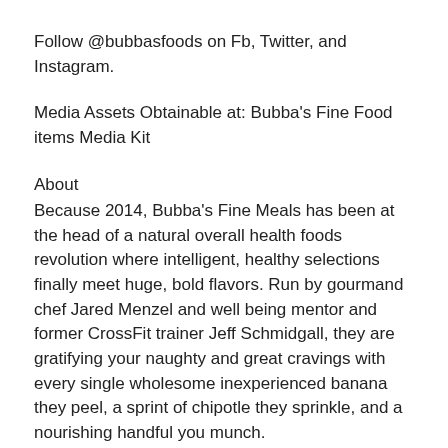Follow @bubbasfoods on Fb, Twitter, and Instagram.
Media Assets Obtainable at: Bubba's Fine Food items Media Kit
About
Because 2014, Bubba's Fine Meals has been at the head of a natural overall health foods revolution where intelligent, healthy selections finally meet huge, bold flavors. Run by gourmand chef Jared Menzel and well being mentor and former CrossFit trainer Jeff Schmidgall, they are gratifying your naughty and great cravings with every single wholesome inexperienced banana they peel, a sprint of chipotle they sprinkle, and a nourishing handful you munch.